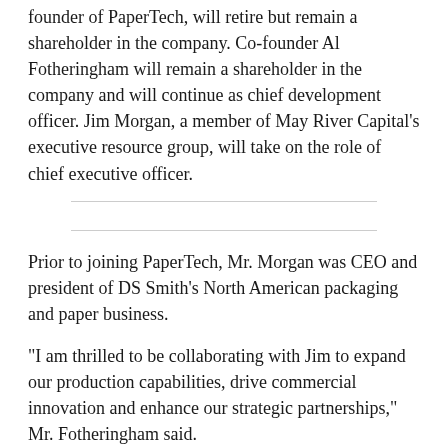founder of PaperTech, will retire but remain a shareholder in the company. Co-founder Al Fotheringham will remain a shareholder in the company and will continue as chief development officer. Jim Morgan, a member of May River Capital's executive resource group, will take on the role of chief executive officer.
Prior to joining PaperTech, Mr. Morgan was CEO and president of DS Smith's North American packaging and paper business.
“I am thrilled to be collaborating with Jim to expand our production capabilities, drive commercial innovation and enhance our strategic partnerships,” Mr. Fotheringham said.
PaperTech produces more than 500 million trays annually for